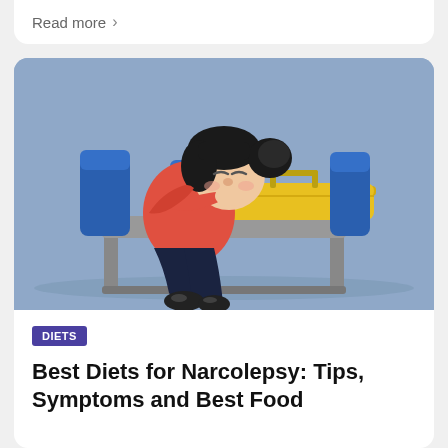Read more >
[Figure (illustration): Cartoon illustration of a woman with dark hair in a bun, wearing a red top and dark pants, sleeping/resting her head on a yellow suitcase while sitting on blue airport seats. The background is a blue-grey color.]
DIETS
Best Diets for Narcolepsy: Tips, Symptoms and Best Food